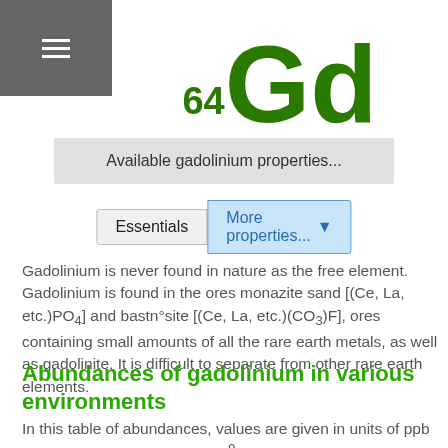[Figure (other): Gadolinium element symbol with atomic number 64 and symbol Gd in dark green, large display]
Available gadolinium properties...
Essentials   More properties... ▼
Gadolinium is never found in nature as the free element. Gadolinium is found in the ores monazite sand [(Ce, La, etc.)PO4] and bastn°site [(Ce, La, etc.)(CO3)F], ores containing small amounts of all the rare earth metals, as well as gadolinite. It is difficult to separate from other rare earth elements.
Abundances of gadolinium in various environments
In this table of abundances, values are given in units of ppb (parts per billion; 1 billion = 10^9), both in terms of weight and